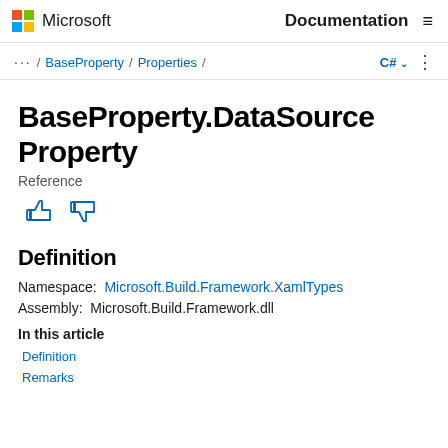Microsoft  Documentation
... / BaseProperty / Properties / C#
BaseProperty.DataSource Property
Reference
Definition
Namespace: Microsoft.Build.Framework.XamlTypes
Assembly: Microsoft.Build.Framework.dll
In this article
Definition
Remarks